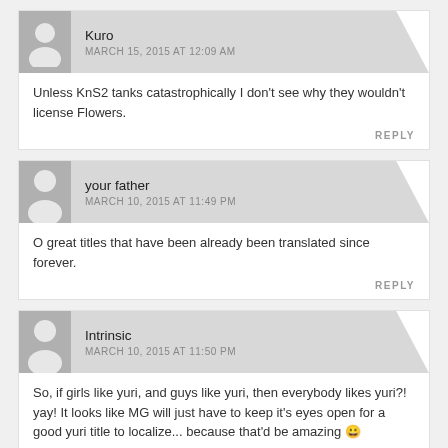Kuro
MARCH 15, 2015 AT 12:09 AM
Unless KnS2 tanks catastrophically I don't see why they wouldn't license Flowers.
REPLY
your father
MARCH 10, 2015 AT 11:49 PM
O great titles that have been already been translated since forever.
REPLY
Intrinsic
MARCH 10, 2015 AT 11:50 PM
So, if girls like yuri, and guys like yuri, then everybody likes yuri?! yay! It looks like MG will just have to keep it's eyes open for a good yuri title to localize... because that'd be amazing 😀